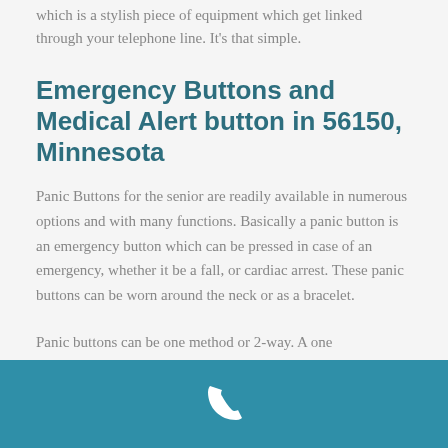which is a stylish piece of equipment which get linked through your telephone line. It's that simple.
Emergency Buttons and Medical Alert button in 56150, Minnesota
Panic Buttons for the senior are readily available in numerous options and with many functions. Basically a panic button is an emergency button which can be pressed in case of an emergency, whether it be a fall, or cardiac arrest. These panic buttons can be worn around the neck or as a bracelet.
Panic buttons can be one method or 2-way. A one
[Figure (illustration): White telephone/phone handset icon on teal/blue-green background footer bar]